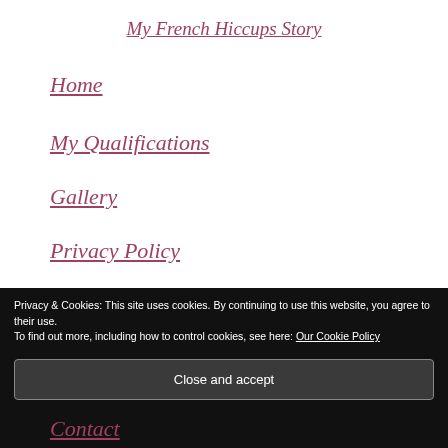My French Hiccups Story
Home
My Qualifications
Gallery
Privacy Policy
Privacy & Cookies: This site uses cookies. By continuing to use this website, you agree to their use. To find out more, including how to control cookies, see here: Our Cookie Policy
Close and accept
Contact